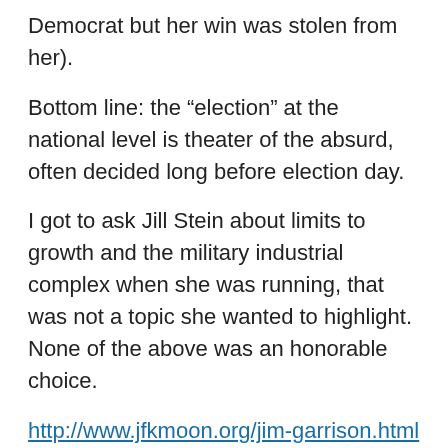Democrat but her win was stolen from her).
Bottom line: the “election” at the national level is theater of the absurd, often decided long before election day.
I got to ask Jill Stein about limits to growth and the military industrial complex when she was running, that was not a topic she wanted to highlight. None of the above was an honorable choice.
http://www.jfkmoon.org/jim-garrison.html
interview of Jim Garrison, District